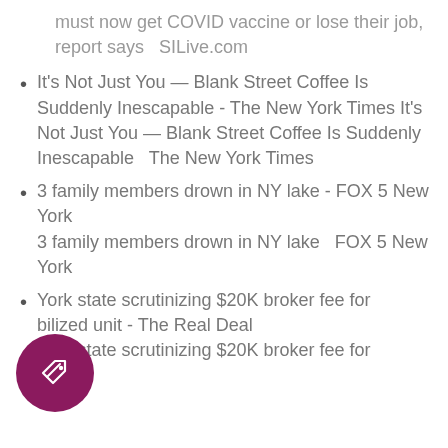must now get COVID vaccine or lose their job, report says  SILive.com
It's Not Just You — Blank Street Coffee Is Suddenly Inescapable - The New York Times It's Not Just You — Blank Street Coffee Is Suddenly Inescapable  The New York Times
3 family members drown in NY lake - FOX 5 New York 3 family members drown in NY lake  FOX 5 New York
York state scrutinizing $20K broker fee for bilized unit - The Real Deal York state scrutinizing $20K broker fee for
[Figure (illustration): Dark magenta/purple circular icon with a price tag symbol inside]